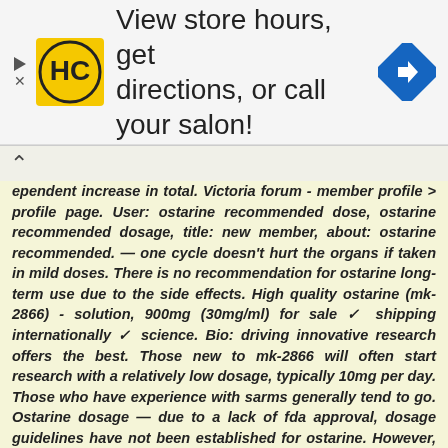[Figure (logo): HC yellow and black logo with navigation arrow icon - advertisement banner: View store hours, get directions, or call your salon!]
ependent increase in total. Victoria forum - member profile > profile page. User: ostarine recommended dose, ostarine recommended dosage, title: new member, about: ostarine recommended. — one cycle doesn't hurt the organs if taken in mild doses. There is no recommendation for ostarine long-term use due to the side effects. High quality ostarine (mk-2866) - solution, 900mg (30mg/ml) for sale ✓ shipping internationally ✓ science. Bio: driving innovative research offers the best. Those new to mk-2866 will often start research with a relatively low dosage, typically 10mg per day. Those who have experience with sarms generally tend to go. Ostarine dosage — due to a lack of fda approval, dosage guidelines have not been established for ostarine. However, in clinical studies 3mg, 9mg and 18mg/ blabla